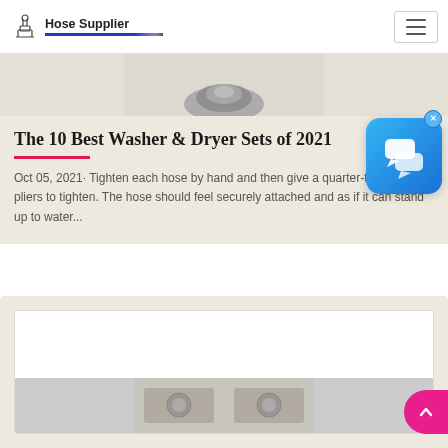Hose Supplier
[Figure (photo): Partial view of a hose fitting or washer connector (cropped from top)]
The 10 Best Washer & Dryer Sets of 2021
Oct 05, 2021· Tighten each hose by hand and then give a quarter-turn with pliers to tighten. The hose should feel securely attached and as if it can stand up to water...
[Figure (photo): Second article card with a product image (partially visible at bottom of page)]